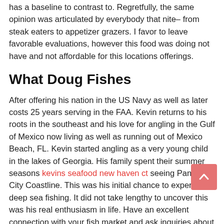has a baseline to contrast to. Regretfully, the same opinion was articulated by everybody that nite– from steak eaters to appetizer grazers. I favor to leave favorable evaluations, however this food was doing not have and not affordable for this locations offerings.
What Doug Fishes
After offering his nation in the US Navy as well as later costs 25 years serving in the FAA. Kevin returns to his roots in the southeast and his love for angling in the Gulf of Mexico now living as well as running out of Mexico Beach, FL. Kevin started angling as a very young child in the lakes of Georgia. His family spent their summer seasons kevins seafood new haven ct seeing Panama City Coastline. This was his initial chance to experience deep sea fishing. It did not take lengthy to uncover this was his real enthusiasm in life. Have an excellent connection with your fish market and ask inquiries about the beginning of seafood you're purchasing.
Cooper's Fish and shellfish House is mentioned on "The